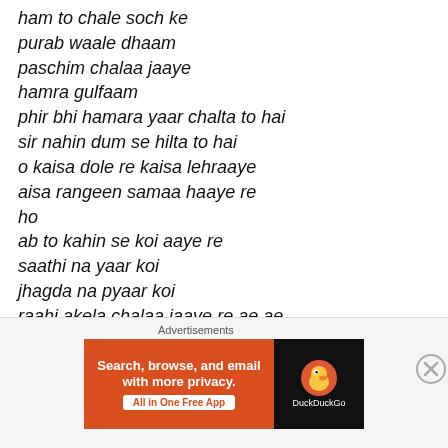ham to chale soch ke
purab waale dhaam
paschim chalaa jaaye
hamra gulfaam
phir bhi hamara yaar chalta to hai
sir nahin dum se hilta to hai
o kaisa dole re kaisa lehraaye
aisa rangeen samaa haaye re
ho
ab to kahin se koi aaye re
saathi na yaar koi
jhagda na pyaar koi
raahi akela chalaa jaaye re ae ae
aisa rangoon samaa haaye re
Advertisements
[Figure (screenshot): DuckDuckGo advertisement banner: orange left section with text 'Search, browse, and email with more privacy. All in One Free App', dark right section with DuckDuckGo duck logo and brand name.]